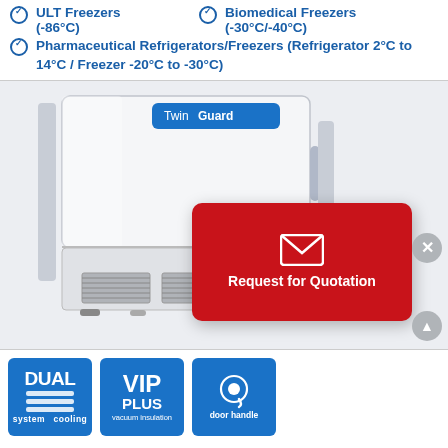ULT Freezers (-86°C)
Biomedical Freezers (-30°C/-40°C)
Pharmaceutical Refrigerators/Freezers (Refrigerator 2°C to 14°C / Freezer -20°C to -30°C)
[Figure (photo): TwinGuard ULT freezer (white, upright, with blue TwinGuard label at top), with a red 'Request for Quotation' popup overlay showing an envelope icon, and a close (X) button and scroll-up button on the right side.]
[Figure (infographic): Three blue badge icons at the bottom: 1) DUAL cooling system with horizontal bars illustration, 2) VIP PLUS vacuum insulation badge, 3) Ergonomic door handle badge.]